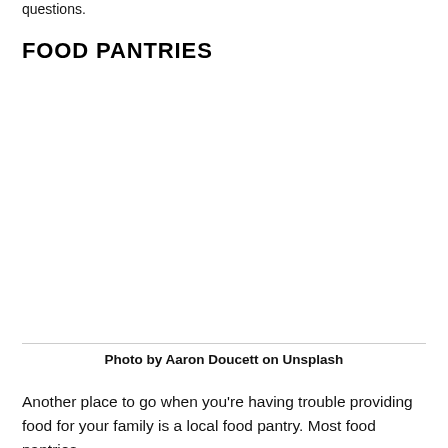questions.
FOOD PANTRIES
[Figure (photo): Photo of a food pantry, image area (blank/placeholder in this rendering)]
Photo by Aaron Doucett on Unsplash
Another place to go when you're having trouble providing food for your family is a local food pantry. Most food pantries